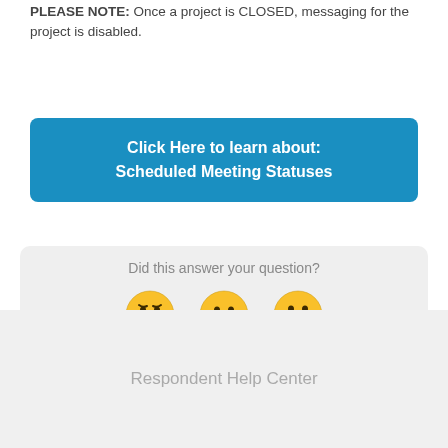PLEASE NOTE: Once a project is CLOSED, messaging for the project is disabled.
Click Here to learn about: Scheduled Meeting Statuses
Did this answer your question?
[Figure (illustration): Three emoji faces: sad/frowning, neutral, and happy/grinning for feedback rating]
Respondent Help Center